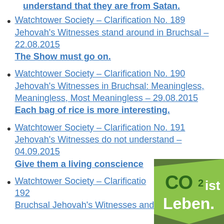understand that they are from Satan.
Watchtower Society – Clarification No. 189
Jehovah's Witnesses stand around in Bruchsal – 22.08.2015
The Show must go on.
Watchtower Society – Clarification No. 190
Jehovah's Witnesses in Bruchsal: Meaningless, Meaningless, Most Meaningless – 29.08.2015
Each bag of rice is more interesting.
Watchtower Society – Clarification No. 191
Jehovah's Witnesses do not understand – 04.09.2015
Give them a living conscience
Watchtower Society – Clarification No. 192
Bruchsal Jehovah's Witnesses and...
[Figure (logo): CO2 ist Leben green speech bubble logo overlay in bottom right corner]